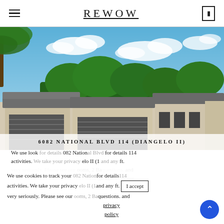REWOW
[Figure (photo): Exterior photo of a residential property with palm trees, blue sky with clouds, and a cream/beige building with grey roof and garage doors.]
6082 NATIONAL BLVD 114 (DIANGELO II)
We use look for details 082 Nation for details 114 activities. We take your privacy elo II (1 and any ft. I accept very seriously. Please see our ooms, 2 Ba questions. and car garage. Features
We use cookies to track your activities. We take your privacy very seriously. Please see our privacy policy for details and any questions. I accept